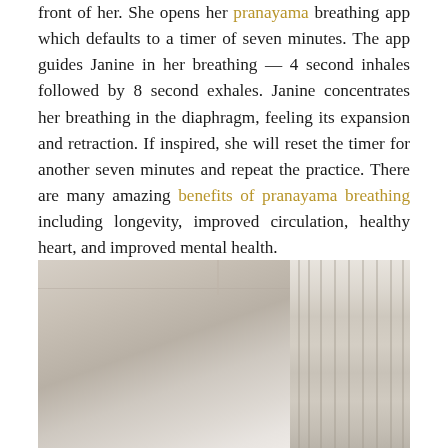front of her. She opens her pranayama breathing app which defaults to a timer of seven minutes. The app guides Janine in her breathing — 4 second inhales followed by 8 second exhales. Janine concentrates her breathing in the diaphragm, feeling its expansion and retraction. If inspired, she will reset the timer for another seven minutes and repeat the practice. There are many amazing benefits of pranayama breathing including longevity, improved circulation, healthy heart, and improved mental health.
[Figure (photo): A minimalist indoor room with beige/cream walls, showing the ceiling corner and white curtains on the right side.]